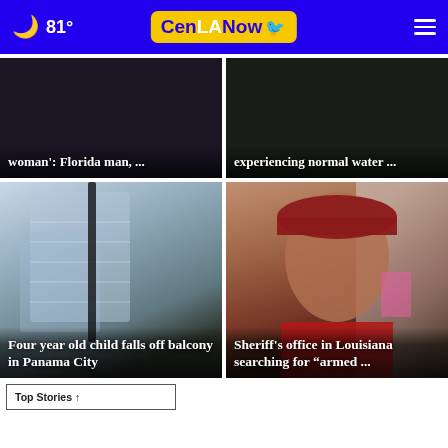🌙 81° CenLANow ☰
[Figure (screenshot): News card with dark background showing partial headline: 'woman': Florida man, ...']
[Figure (screenshot): News card with dark background showing partial headline: 'experiencing normal water ...']
[Figure (photo): Photo of a modern multi-story building with balconies, overlaid with headline: 'Four year old child falls off balcony in Panama City']
[Figure (photo): Photo of a man in a red hoodie and cap, overlaid with headline: 'Sheriff's office in Louisiana searching for "armed ..."']
Top Stories ↑